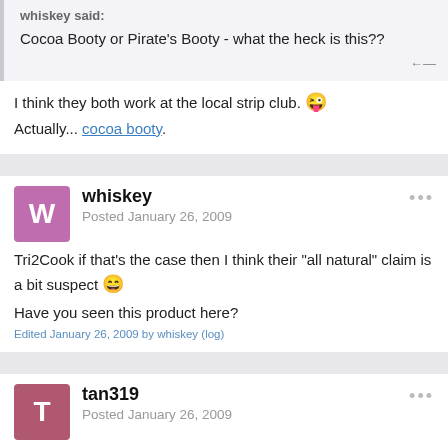whiskey said: Cocoa Booty or Pirate's Booty - what the heck is this??
I think they both work at the local strip club. 😜 Actually... cocoa booty.
whiskey
Posted January 26, 2009
Tri2Cook if that's the case then I think their "all natural" claim is a bit suspect 😄
Have you seen this product here?
Edited January 26, 2009 by whiskey (log)
tan319
Posted January 26, 2009